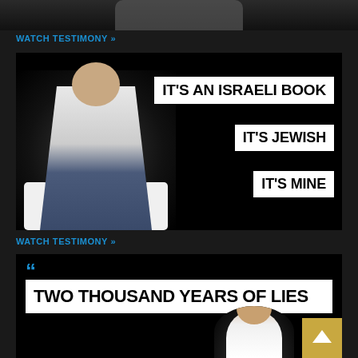[Figure (screenshot): Top image strip showing partial view of a person in a dark background video thumbnail]
WATCH TESTIMONY »
[Figure (screenshot): Video thumbnail showing a man sitting in a white chair on a black background with text overlays: IT'S AN ISRAELI BOOK, IT'S JEWISH, IT'S MINE]
WATCH TESTIMONY »
[Figure (screenshot): Video thumbnail on black background with large white text box reading TWO THOUSAND YEARS OF LIES with blue quotation marks, and a woman visible at the bottom]